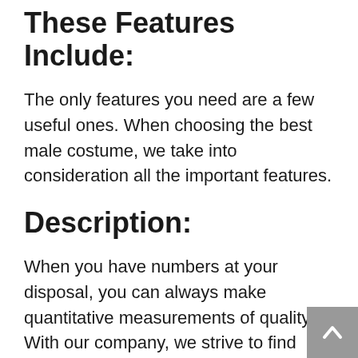These Features Include:
The only features you need are a few useful ones. When choosing the best male costume, we take into consideration all the important features.
Description:
When you have numbers at your disposal, you can always make quantitative measurements of quality. With our company, we strive to find products that are exceptional, but also strike the right balance between the two.